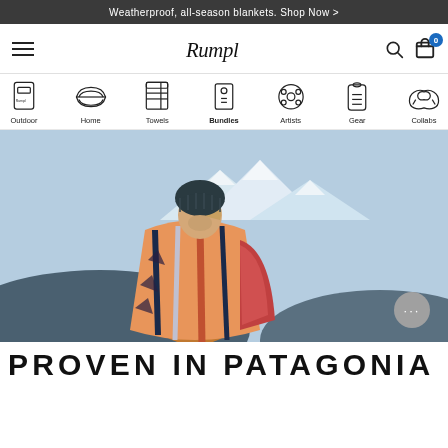Weatherproof, all-season blankets. Shop Now >
[Figure (logo): Rumpl brand logo in stylized italic text]
Outdoor
Home
Towels
Bundles
Artists
Gear
Collabs
[Figure (photo): Woman wrapped in a colorful Rumpl blanket standing outdoors with snow-capped mountains in background. Wearing a dark knit hat.]
PROVEN IN PATAGONIA